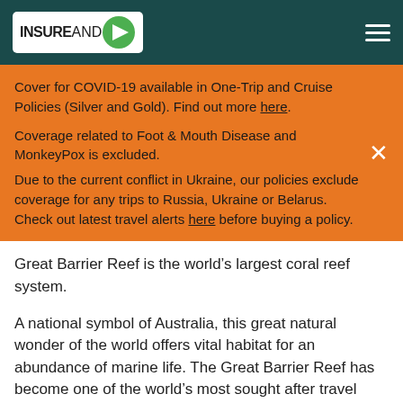INSUREANDGO
Cover for COVID-19 available in One-Trip and Cruise Policies (Silver and Gold). Find out more here.
Coverage related to Foot & Mouth Disease and MonkeyPox is excluded.
Due to the current conflict in Ukraine, our policies exclude coverage for any trips to Russia, Ukraine or Belarus. Check out latest travel alerts here before buying a policy.
Great Barrier Reef is the world’s largest coral reef system.
A national symbol of Australia, this great natural wonder of the world offers vital habitat for an abundance of marine life. The Great Barrier Reef has become one of the world’s most sought after travel destinations. It is a living breathing ecosystem that offers an abundance of underwater recreation, some 900 idyllic islands, and extraordinary wildlife